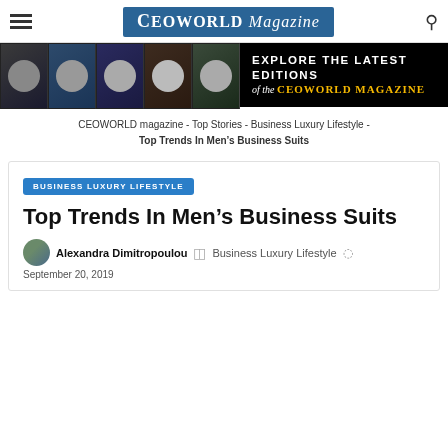CEOWORLD Magazine [navigation header with hamburger menu and search]
[Figure (infographic): Banner advertisement: 5 magazine covers on the left, text 'EXPLORE THE LATEST EDITIONS of the CEOWORLD MAGAZINE' on the right on black background]
CEOWORLD magazine - Top Stories - Business Luxury Lifestyle - Top Trends In Men's Business Suits
BUSINESS LUXURY LIFESTYLE
Top Trends In Men's Business Suits
Alexandra Dimitropoulou   Business Luxury Lifestyle   September 20, 2019